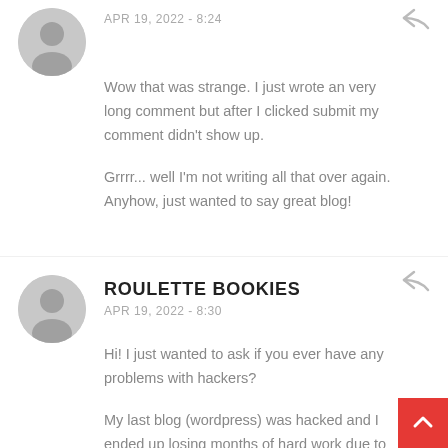APR 19, 2022 - 8:24
Wow that was strange. I just wrote an very long comment but after I clicked submit my comment didn't show up.
Grrrr... well I'm not writing all that over again. Anyhow, just wanted to say great blog!
ROULETTE BOOKIES
APR 19, 2022 - 8:30
Hi! I just wanted to ask if you ever have any problems with hackers?
My last blog (wordpress) was hacked and I ended up losing months of hard work due to no backup.